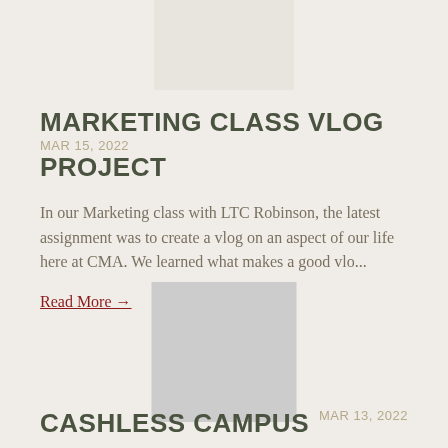[Figure (photo): Partially visible image placeholder at top center, light beige/off-white rectangle]
MARKETING CLASS VLOG PROJECT MAR 15, 2022
In our Marketing class with LTC Robinson, the latest assignment was to create a vlog on an aspect of our life here at CMA. We learned what makes a good vlo...
Read More →
[Figure (photo): Image placeholder, gray rectangle]
CASHLESS CAMPUS MAR 13, 2022